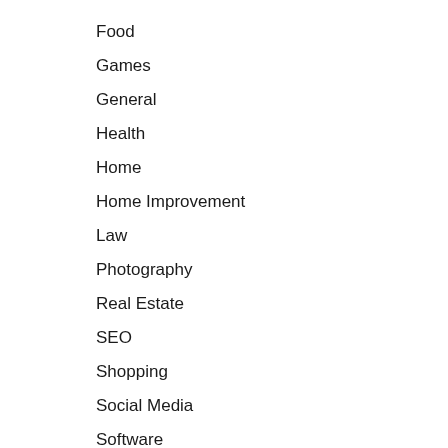Food
Games
General
Health
Home
Home Improvement
Law
Photography
Real Estate
SEO
Shopping
Social Media
Software